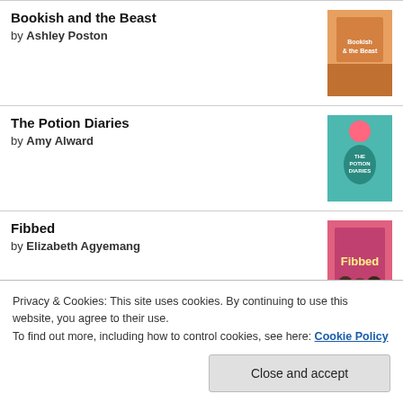Bookish and the Beast by Ashley Poston
The Potion Diaries by Amy Alward
Fibbed by Elizabeth Agyemang
Fangirl, Vol. 1: The Manga by Sam Maggs
Privacy & Cookies: This site uses cookies. By continuing to use this website, you agree to their use. To find out more, including how to control cookies, see here: Cookie Policy
Close and accept